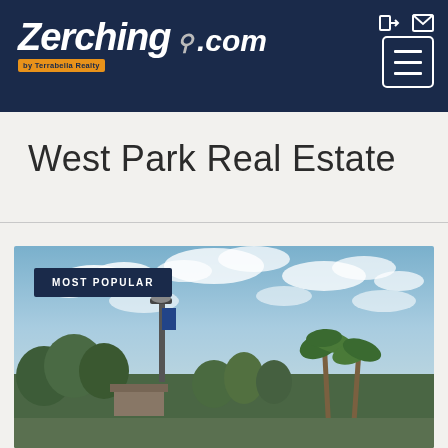Zerching by Terrabella Realty .com
West Park Real Estate
[Figure (photo): Street scene photo of West Park with a decorative lamp post, palm trees, and a partly cloudy blue sky. A 'MOST POPULAR' badge overlays the top-left of the image.]